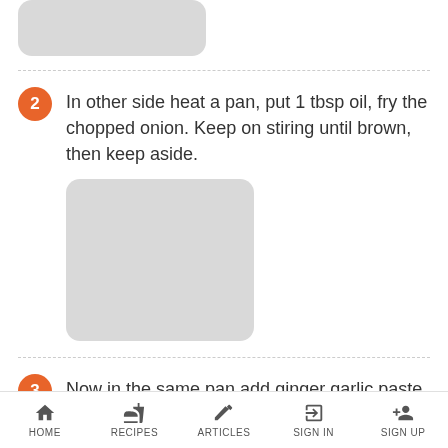[Figure (photo): Gray placeholder image for step 1 (partial, top of page)]
2  In other side heat a pan, put 1 tbsp oil, fry the chopped onion. Keep on stiring until brown, then keep aside.
[Figure (photo): Gray placeholder image for step 2]
3  Now in the same pan add ginger garlic paste saute.
[Figure (photo): Gray placeholder image for step 3 (partial, bottom of page)]
HOME   RECIPES   ARTICLES   SIGN IN   SIGN UP